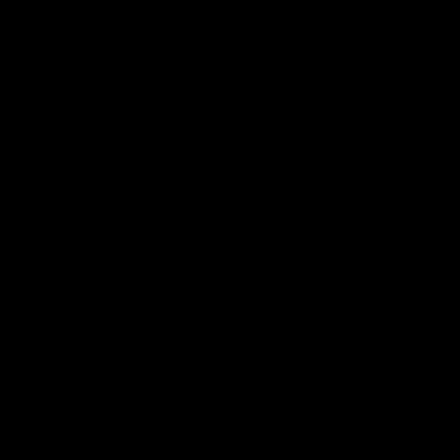Lost Frequencies and Netsky - Here With You (C
LowPolyException-Nodal Point Gang-WEB-201
Lpp-Snacking News EP-WEB-2017-POWPOW
Lsdave-Rock Rock Till You Drop-WEB-2017-PO
Lucky Vegas-Belong-WEB-2017-POWPOW
Magic Mizrahi-Kadoom-WEB-2017-2FAST4U
Manuel Embalse-Fotocopias De Algo Que No Ex
Marco Corcella-Aspect EP-WEB-2017-POWPO
Marco Restivo Dj-Wriggle-WEB-2017-2FAST4U
Markinox-Stop-WEB-2017-POWPOW
Martial Canterel-Lost at Sea-(DAIS105)-WEB-20
Marx P-Emotions-WEB-2017-2FAST4U
Matheux-So Get Up-WEB-2017-POWPOW
Mattjax-Late Latte-WEB-2017-POWPOW
Mckeith Cordell-The Institution Of Love-WEB-2
Meteor-Atlas-WEB-2017-2FAST4U
Miguel Revilla-Brazil EP-WEB-2017-POWPOW
Miguel Tavares-Back To Grace EP-WEB-2017-P
Mike Pimenta-Ken Deep World-WEB-2017-POW
Miro-Nothings Gonna Stop Me-WEB-2017-POW
Miroslav Vrlik-Words Mean Nothing-WEB-2017
Miss Adk-El Prestamista-WEB-2017-POWPOW
Miss Marjol-Birds-WEB-2017-POWPOW
Moggi (Piero Umiliani)-Tra Scienza E Fantascie
Montel-Doubledown EP-WEB-2017-2FAST4U